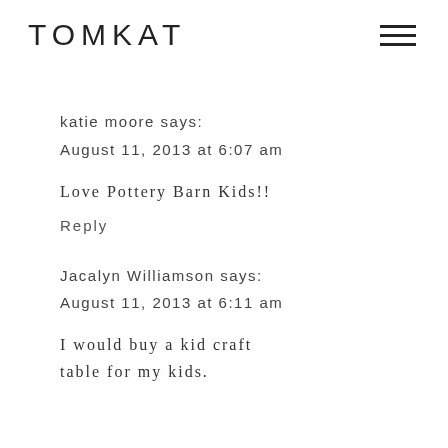TOMKAT
katie moore says:
August 11, 2013 at 6:07 am
Love Pottery Barn Kids!!
Reply
Jacalyn Williamson says:
August 11, 2013 at 6:11 am
I would buy a kid craft table for my kids.